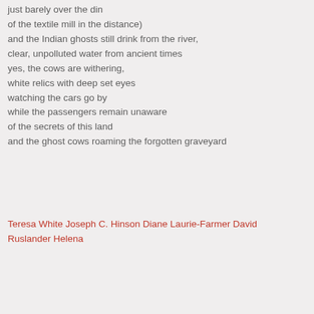just barely over the din
of the textile mill in the distance)
and the Indian ghosts still drink from the river,
clear, unpolluted water from ancient times
yes, the cows are withering,
white relics with deep set eyes
watching the cars go by
while the passengers remain unaware
of the secrets of this land
and the ghost cows roaming the forgotten graveyard
Teresa White Joseph C. Hinson Diane Laurie-Farmer David Ruslander Helena